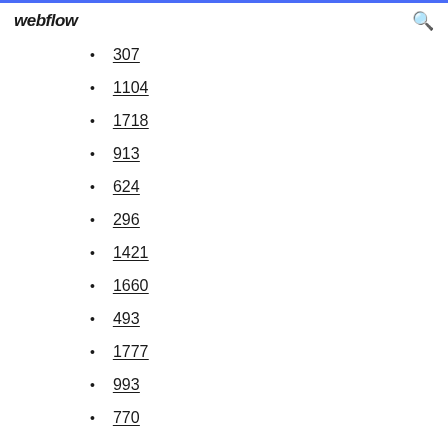webflow
307
1104
1718
913
624
296
1421
1660
493
1777
993
770